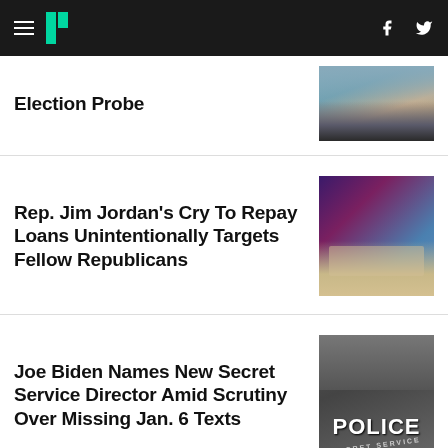HuffPost navigation with hamburger menu, logo, Facebook and Twitter icons
Election Probe
[Figure (photo): Man in suit photographed outdoors, partially visible, cropped at top]
Rep. Jim Jordan's Cry To Repay Loans Unintentionally Targets Fellow Republicans
[Figure (photo): Rep. Jim Jordan speaking, colorful background of red, purple, and blue]
Joe Biden Names New Secret Service Director Amid Scrutiny Over Missing Jan. 6 Texts
[Figure (photo): Police Secret Service badge/vest in dark gray]